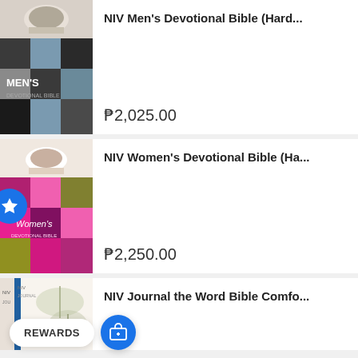[Figure (photo): Book cover of NIV Men's Devotional Bible with dark checkered pattern in black, grey, and blue squares with a coffee cup image at top]
NIV Men's Devotional Bible (Hard...
₱2,025.00
[Figure (photo): Book cover of NIV Women's Devotional Bible with pink, magenta, olive/green checkered pattern and coffee cup image at top]
NIV Women's Devotional Bible (Ha...
₱2,250.00
[Figure (photo): Partial book cover of NIV Journal the Word Bible Comfort Print]
NIV Journal the Word Bible Comfo...
REWARDS